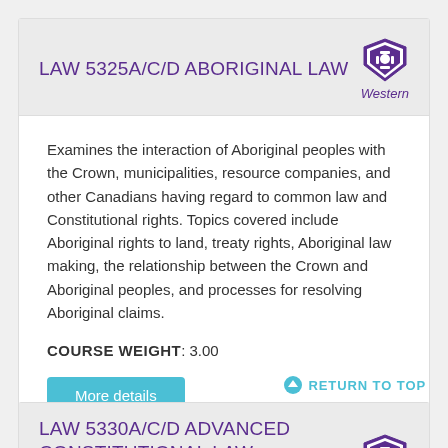LAW 5325A/C/D ABORIGINAL LAW
Examines the interaction of Aboriginal peoples with the Crown, municipalities, resource companies, and other Canadians having regard to common law and Constitutional rights. Topics covered include Aboriginal rights to land, treaty rights, Aboriginal law making, the relationship between the Crown and Aboriginal peoples, and processes for resolving Aboriginal claims.
COURSE WEIGHT: 3.00
More details
RETURN TO TOP
LAW 5330A/C/D ADVANCED CONSTITUTIONAL LAW–CHARTER OF RIGHTS